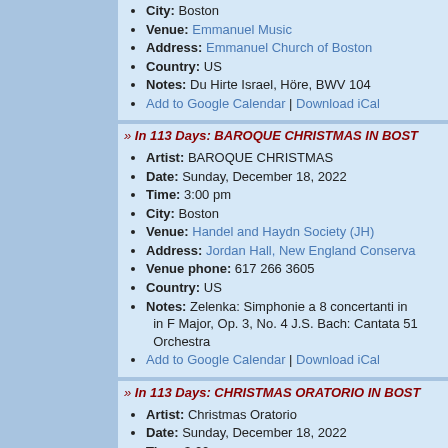City: Boston
Venue: Emmanuel Music
Address: Emmanuel Church of Boston
Country: US
Notes: Du Hirte Israel, Höre, BWV 104
Add to Google Calendar | Download iCal
» In 113 Days: BAROQUE CHRISTMAS IN BOST...
Artist: BAROQUE CHRISTMAS
Date: Sunday, December 18, 2022
Time: 3:00 pm
City: Boston
Venue: Handel and Haydn Society (JH)
Address: Jordan Hall, New England Conserva...
Venue phone: 617 266 3605
Country: US
Notes: Zelenka: Simphonie a 8 concertanti in ... in F Major, Op. 3, No. 4 J.S. Bach: Cantata 51... Orchestra
Add to Google Calendar | Download iCal
» In 113 Days: CHRISTMAS ORATORIO IN BOST...
Artist: Christmas Oratorio
Date: Sunday, December 18, 2022
Time: 3:00 pm
City: Boston
Venue: Emmanuel Music
Address: Emmanuel Church of Boston
Country: US
Buy Tickets
Notes: The six cantatas that comprise this wor... arias and chorales, and dazzling choruses with...
Add to Google Calendar | Download iCal